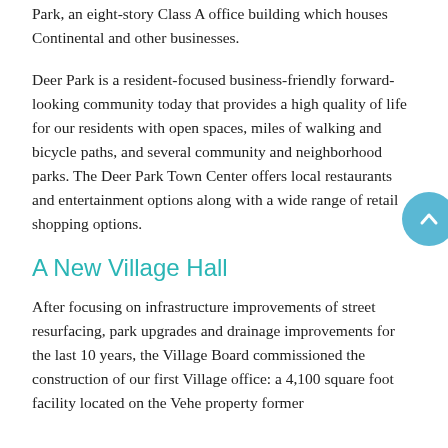Park, an eight-story Class A office building which houses Continental and other businesses.
Deer Park is a resident-focused business-friendly forward-looking community today that provides a high quality of life for our residents with open spaces, miles of walking and bicycle paths, and several community and neighborhood parks. The Deer Park Town Center offers local restaurants and entertainment options along with a wide range of retail shopping options.
A New Village Hall
After focusing on infrastructure improvements of street resurfacing, park upgrades and drainage improvements for the last 10 years, the Village Board commissioned the construction of our first Village office: a 4,100 square foot facility located on the Vehe property former